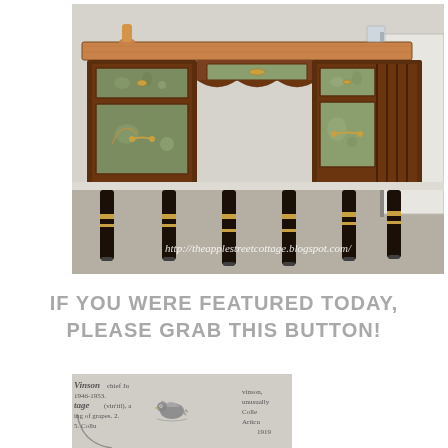[Figure (photo): A vintage/antique desk with ornate decoupaged drawers featuring bird and floral motifs, dark wood with black and gold painted legs on carpet. Watermark text: http://theapplestreetcottage.blogspot.com/]
IF YOU WERE FEATURED TODAY, PLEASE GRAB THIS BUTTON!
[Figure (photo): Partial view of a vintage/dictionary style image with a decorative bird logo, used as a button graphic for the blog]